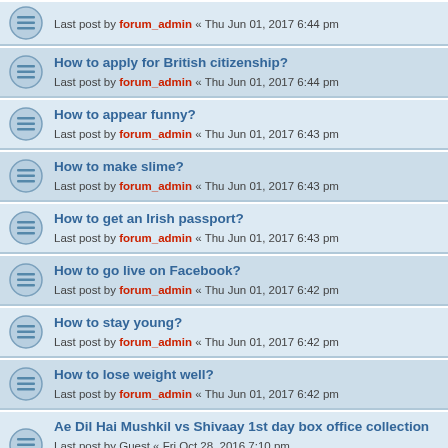How to apply for British citizenship? — Last post by forum_admin « Thu Jun 01, 2017 6:44 pm
How to appear funny? — Last post by forum_admin « Thu Jun 01, 2017 6:43 pm
How to make slime? — Last post by forum_admin « Thu Jun 01, 2017 6:43 pm
How to get an Irish passport? — Last post by forum_admin « Thu Jun 01, 2017 6:43 pm
How to go live on Facebook? — Last post by forum_admin « Thu Jun 01, 2017 6:42 pm
How to stay young? — Last post by forum_admin « Thu Jun 01, 2017 6:42 pm
How to lose weight well? — Last post by forum_admin « Thu Jun 01, 2017 6:42 pm
Ae Dil Hai Mushkil vs Shivaay 1st day box office collection — Last post by Guest « Fri Oct 28, 2016 7:10 pm — Replies: 1
difference between Moti choor Ladoo and bundi Ladoo — Last post by Guest « Thu Oct 22, 2015 8:11 pm — Replies: 2
Tips/suggestion To Buy A Used Car in USA — Last post by Guest « Thu Oct 22, 2015 8:08 pm — Replies: 3